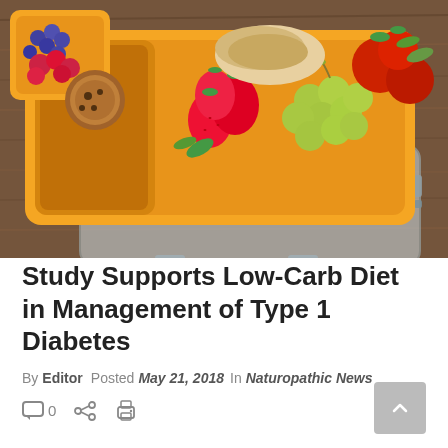[Figure (photo): Orange plastic lunch box/bento container filled with fresh fruits and vegetables including strawberries, grapes, tomatoes, and other foods, on a wooden surface with lid nearby]
Study Supports Low-Carb Diet in Management of Type 1 Diabetes
By Editor  Posted May 21, 2018  In Naturopathic News